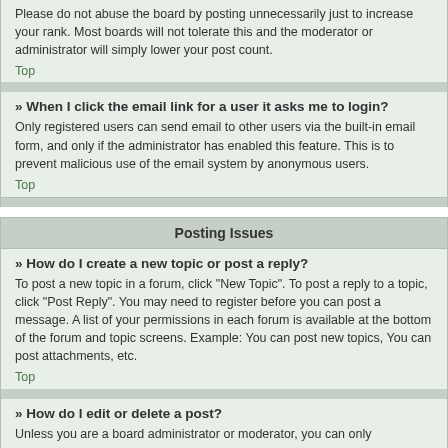Please do not abuse the board by posting unnecessarily just to increase your rank. Most boards will not tolerate this and the moderator or administrator will simply lower your post count.
Top
» When I click the email link for a user it asks me to login?
Only registered users can send email to other users via the built-in email form, and only if the administrator has enabled this feature. This is to prevent malicious use of the email system by anonymous users.
Top
Posting Issues
» How do I create a new topic or post a reply?
To post a new topic in a forum, click "New Topic". To post a reply to a topic, click "Post Reply". You may need to register before you can post a message. A list of your permissions in each forum is available at the bottom of the forum and topic screens. Example: You can post new topics, You can post attachments, etc.
Top
» How do I edit or delete a post?
Unless you are a board administrator or moderator, you can only